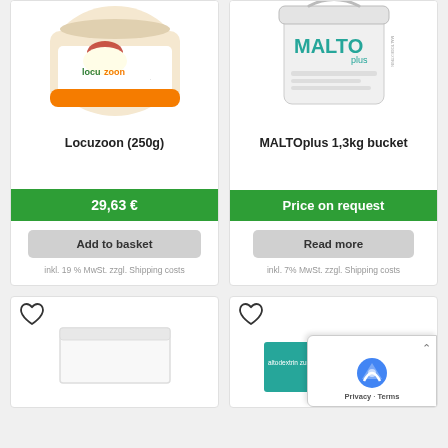[Figure (photo): Locuzoon 250g product jar with dessert image and locucoon branding]
Locuzoon (250g)
29,63 €
Add to basket
inkl. 19 % MwSt. zzgl. Shipping costs
[Figure (photo): MALTOplus 1.3kg white bucket product photo]
MALTOplus 1,3kg bucket
Price on request
Read more
inkl. 7% MwSt. zzgl. Shipping costs
[Figure (photo): Bottom left product card partially visible with white box product]
[Figure (photo): Bottom right product card partially visible with teal packaging and cookie consent overlay]